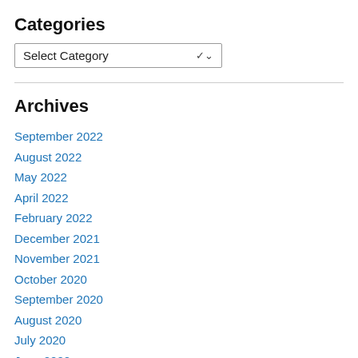Categories
[Figure (other): A dropdown select box labeled 'Select Category' with a chevron icon on the right]
Archives
September 2022
August 2022
May 2022
April 2022
February 2022
December 2021
November 2021
October 2020
September 2020
August 2020
July 2020
June 2020
February 2020